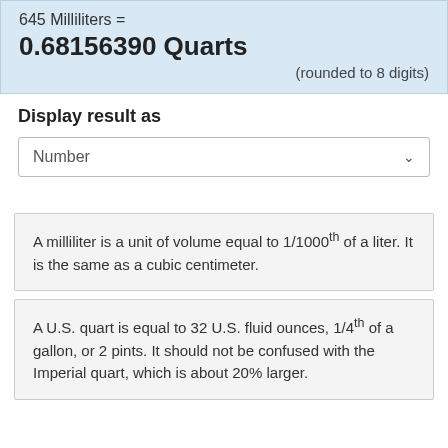645 Milliliters = 0.68156390 Quarts (rounded to 8 digits)
Display result as
Number
A milliliter is a unit of volume equal to 1/1000th of a liter. It is the same as a cubic centimeter.
A U.S. quart is equal to 32 U.S. fluid ounces, 1/4th of a gallon, or 2 pints. It should not be confused with the Imperial quart, which is about 20% larger.